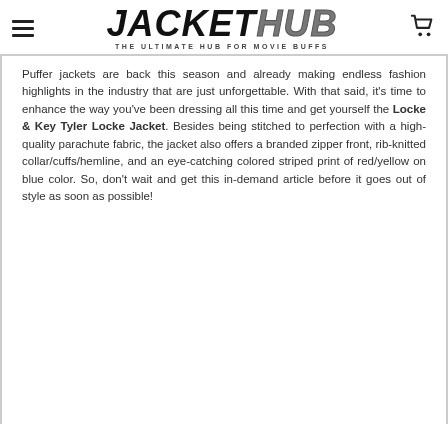JACKETHUB — THE ULTIMATE HUB FOR MOVIE BUFFS
Puffer jackets are back this season and already making endless fashion highlights in the industry that are just unforgettable. With that said, it's time to enhance the way you've been dressing all this time and get yourself the Locke & Key Tyler Locke Jacket. Besides being stitched to perfection with a high-quality parachute fabric, the jacket also offers a branded zipper front, rib-knitted collar/cuffs/hemline, and an eye-catching colored striped print of red/yellow on blue color. So, don't wait and get this in-demand article before it goes out of style as soon as possible!